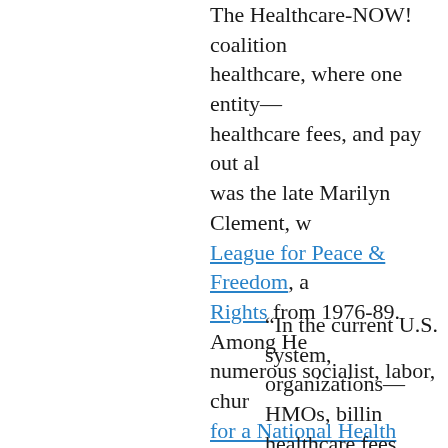The Healthcare-NOW! coalition healthcare, where one entity— healthcare fees, and pay out al was the late Marilyn Clement, w League for Peace & Freedom, a Rights from 1976-89. Among He numerous socialist, labor, chur for a National Health Program.
“In the current U.S. system, organizations—HMOs, billin healthcare fees, there is an the system....  In a single-pa providers would bill one em waste greatly and saves mo